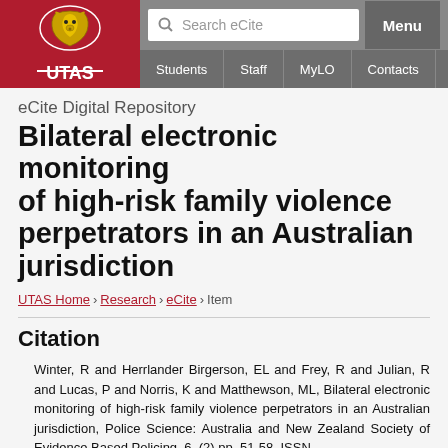eCite Digital Repository — UTAS navigation header with search and menu
eCite Digital Repository
Bilateral electronic monitoring of high-risk family violence perpetrators in an Australian jurisdiction
UTAS Home › Research › eCite › Item
Citation
Winter, R and Herrlander Birgerson, EL and Frey, R and Julian, R and Lucas, P and Norris, K and Matthewson, ML, Bilateral electronic monitoring of high-risk family violence perpetrators in an Australian jurisdiction, Police Science: Australia and New Zealand Society of Evidence Based Policing, 6, (2) pp. 51-58. ISSN